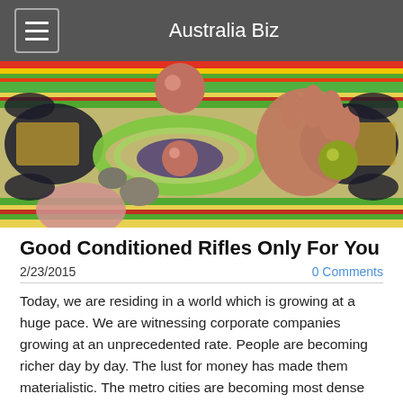Australia Biz
[Figure (illustration): Abstract colorful 3D digital artwork featuring a large hand reaching toward glowing orbs with swirling green rings, set against a striped colorful symmetrical background]
Good Conditioned Rifles Only For You
2/23/2015
0 Comments
Today, we are residing in a world which is growing at a huge pace. We are witnessing corporate companies growing at an unprecedented rate. People are becoming richer day by day. The lust for money has made them materialistic. The metro cities are becoming most dense